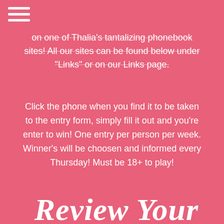☰
on one of Thalia's tantalizing phonebook sites! All our sites can be found below under "Links" or on our Links page.
Click the phone when you find it to be taken to the entry form, simply fill it out and you're enter to win! One entry per person per week. Winner's will be choosen and informed every Thursday! Must be 18+ to play!
Review Your Call
[Figure (illustration): Five white/silver stars in a row for rating]
One 15 Minute Free Call Awarded